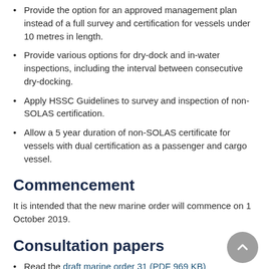Provide the option for an approved management plan instead of a full survey and certification for vessels under 10 metres in length.
Provide various options for dry-dock and in-water inspections, including the interval between consecutive dry-docking.
Apply HSSC Guidelines to survey and inspection of non-SOLAS certification.
Allow a 5 year duration of non-SOLAS certificate for vessels with dual certification as a passenger and cargo vessel.
Commencement
It is intended that the new marine order will commence on 1 October 2019.
Consultation papers
Read the draft marine order 31 (PDF 969 KB)